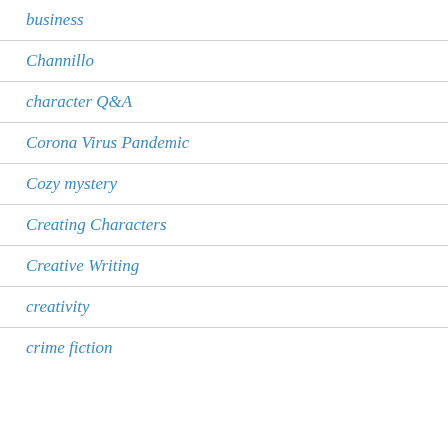business
Channillo
character Q&A
Corona Virus Pandemic
Cozy mystery
Creating Characters
Creative Writing
creativity
crime fiction